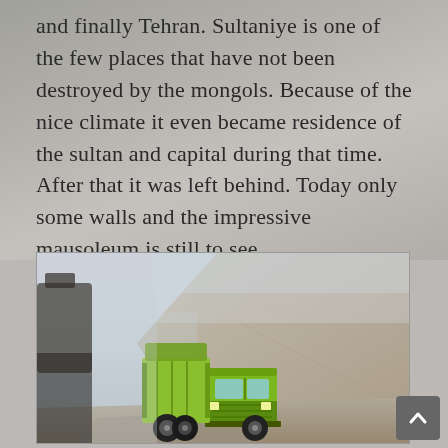and finally Tehran. Sultaniye is one of the few places that have not been destroyed by the mongols. Because of the nice climate it even became residence of the sultan and capital during that time. After that it was left behind. Today only some walls and the impressive mausoleum is still to see.
[Figure (photo): A yellow/green truck driving on a foggy mountain road beside a large sandy hillside or embankment, in misty conditions with low visibility.]